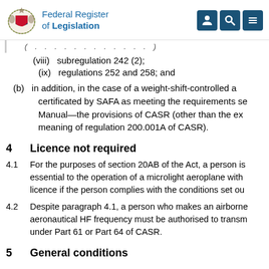Federal Register of Legislation
(viii)  subregulation 242 (2);
(ix)  regulations 252 and 258; and
(b)  in addition, in the case of a weight-shift-controlled a certificated by SAFA as meeting the requirements se Manual—the provisions of CASR (other than the ex meaning of regulation 200.001A of CASR).
4  Licence not required
4.1  For the purposes of section 20AB of the Act, a person is essential to the operation of a microlight aeroplane with licence if the person complies with the conditions set ou
4.2  Despite paragraph 4.1, a person who makes an airborne aeronautical HF frequency must be authorised to transm under Part 61 or Part 64 of CASR.
5  General conditions